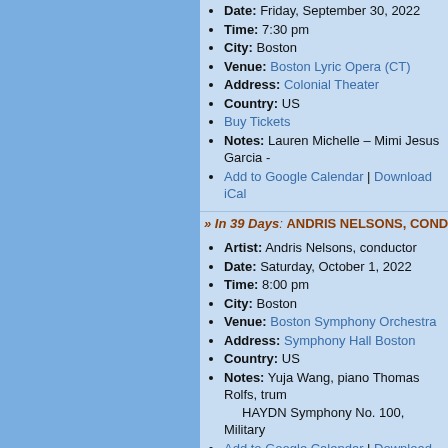Date: Friday, September 30, 2022
Time: 7:30 pm
City: Boston
Venue: Boston Lyric Opera (CT)
Address: Colonial Theater
Country: US
Buy Tickets
Notes: Lauren Michelle – Mimi Jesus Garcia -
Add to Google Calendar | Download iCal
» In 39 Days: ANDRIS NELSONS, CONDUCTOR ...
Artist: Andris Nelsons, conductor
Date: Saturday, October 1, 2022
Time: 8:00 pm
City: Boston
Venue: Boston Symphony Orchestra
Address: Symphony Hall Boston
Country: US
Notes: Yuja Wang, piano Thomas Rolfs, trum... HAYDN Symphony No. 100, Military
Add to Google Calendar | Download iCal
» In 39 Days: REFLECTIONS IN CAMBRIDGE O...
Artist: Reflections
Date: Saturday, October 1, 2022
Time: 8:00 pm
City: Cambridge
Venue: Radius Ensemble (L)
Address: Pickman Hall, Longy
Venue phone: 617.792.7234
Country: US
Buy Tickets
Notes: SAARIAHO – Mirrors for flute and ce... Quintet for clarinet, horn, violin, cello and pia...